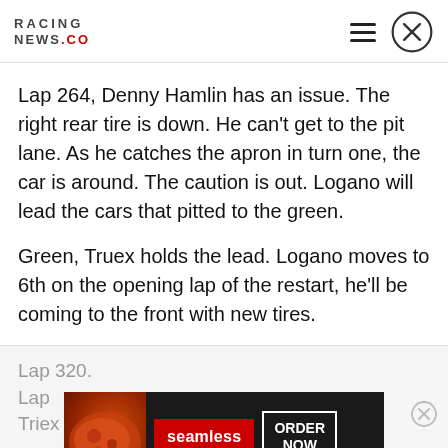RACING NEWS.CO
Lap 264, Denny Hamlin has an issue. The right rear tire is down. He can't get to the pit lane. As he catches the apron in turn one, the car is around. The caution is out. Logano will lead the cars that pitted to the green.
Green, Truex holds the lead. Logano moves to 6th on the opening lap of the restart, he'll be coming to the front with new tires.
Lap 320.
Lap [obscured by ad] ...e.
Triex follows on lap 321.
[Figure (advertisement): Seamless food delivery advertisement with pizza image, red Seamless logo button, and ORDER NOW bordered button on dark background]